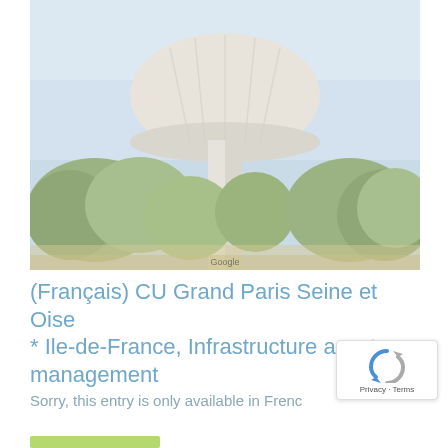[Figure (photo): Street-view photograph of a large white water tower with a mushroom-shaped tank, surrounded by green trees under a pale blue sky. A small 'Google' watermark appears at the bottom center of the image.]
(Français) CU Grand Paris Seine et Oise * Ile-de-France, Infrastructure asset management
Sorry, this entry is only available in Frenc
[Figure (logo): reCAPTCHA badge with Google reCAPTCHA logo and 'Privacy - Terms' text]